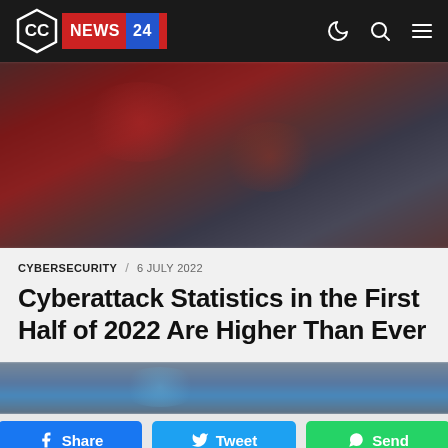CC NEWS 24
[Figure (photo): Dark blurred background image with red/dark tones, top hero image of article]
CYBERSECURITY / 6 JULY 2022
Cyberattack Statistics in the First Half of 2022 Are Higher Than Ever
[Figure (photo): Partially visible bottom hero image with blue/grey tones]
Share  Tweet  Send